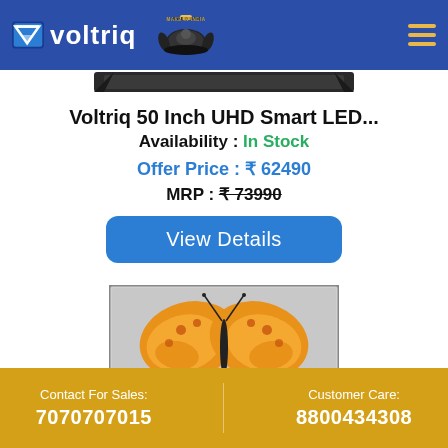[Figure (logo): Voltriq logo with blue background and Make in India lion emblem]
[Figure (photo): Top portion of a flat screen TV, black frame visible]
Voltriq 50 Inch UHD Smart LED...
Availability : In Stock
Offer Price : ₹ 62490
MRP : ₹ 73990
View Details
[Figure (photo): TV screen showing a butterfly image on a flat LED display]
Contact For Sales: 7070707015 | Customer Care: 8800434308